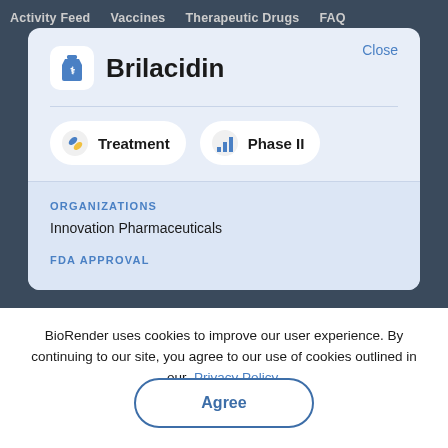Activity Feed    Vaccines    Therapeutic Drugs    FAQ
Brilacidin
Treatment    Phase II
ORGANIZATIONS
Innovation Pharmaceuticals
FDA APPROVAL
BioRender uses cookies to improve our user experience. By continuing to our site, you agree to our use of cookies outlined in our Privacy Policy.
Agree